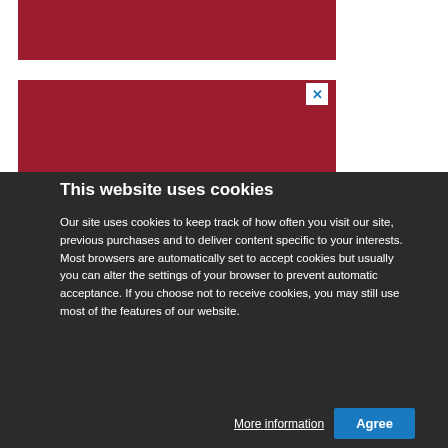[Figure (illustration): Red banner/header bar at top of webpage]
[Figure (logo): Red background with white heraldic coat of arms crest, with an X close button in top-right corner]
This website uses cookies
Our site uses cookies to keep track of how often you visit our site, previous purchases and to deliver content specific to your interests. Most browsers are automatically set to accept cookies but usually you can alter the settings of your browser to prevent automatic acceptance. If you choose not to receive cookies, you may still use most of the features of our website.
More information
Agree